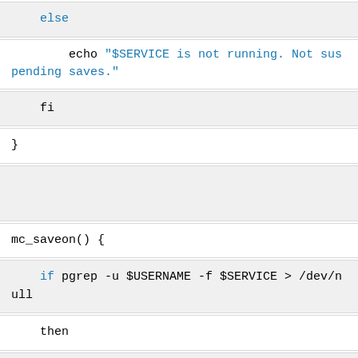else
echo "$SERVICE is not running. Not suspending saves."
fi
}
mc_saveon() {
if pgrep -u $USERNAME -f $SERVICE > /dev/null
then
echo "$SERVICE is running... re-enabling saves"